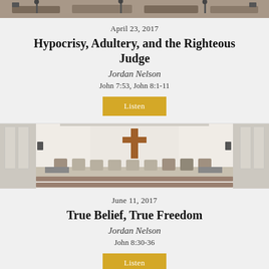[Figure (photo): Church interior photo cropped at top — pews, people, microphones visible]
April 23, 2017
Hypocrisy, Adultery, and the Righteous Judge
Jordan Nelson
John 7:53, John 8:1-11
[Figure (other): Listen button — gold/yellow rectangle]
[Figure (photo): Church sanctuary interior with large wooden cross on wall, chairs on stage, pews in front]
June 11, 2017
True Belief, True Freedom
Jordan Nelson
John 8:30-36
[Figure (other): Listen button — gold/yellow rectangle]